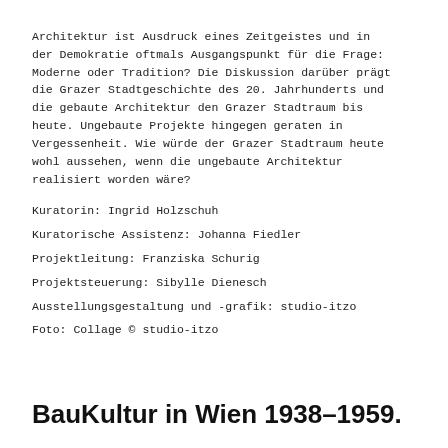Architektur ist Ausdruck eines Zeitgeistes und in der Demokratie oftmals Ausgangspunkt für die Frage: Moderne oder Tradition? Die Diskussion darüber prägt die Grazer Stadtgeschichte des 20. Jahrhunderts und die gebaute Architektur den Grazer Stadtraum bis heute. Ungebaute Projekte hingegen geraten in Vergessenheit. Wie würde der Grazer Stadtraum heute wohl aussehen, wenn die ungebaute Architektur realisiert worden wäre?
Kuratorin: Ingrid Holzschuh
Kuratorische Assistenz: Johanna Fiedler
Projektleitung: Franziska Schurig
Projektsteuerung: Sibylle Dienesch
Ausstellungsgestaltung und -grafik: studio-itzo
Foto: Collage © studio-itzo
BauKultur in Wien 1938–1959.